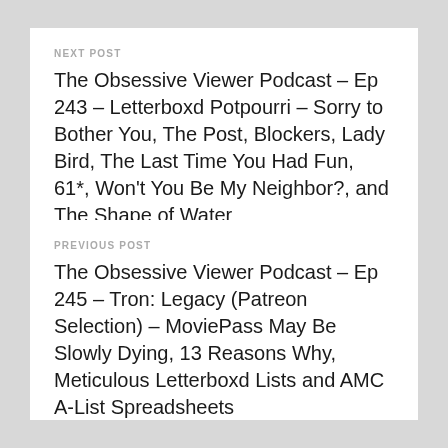NEXT POST
The Obsessive Viewer Podcast – Ep 243 – Letterboxd Potpourri – Sorry to Bother You, The Post, Blockers, Lady Bird, The Last Time You Had Fun, 61*, Won't You Be My Neighbor?, and The Shape of Water
PREVIOUS POST
The Obsessive Viewer Podcast – Ep 245 – Tron: Legacy (Patreon Selection) – MoviePass May Be Slowly Dying, 13 Reasons Why, Meticulous Letterboxd Lists and AMC A-List Spreadsheets